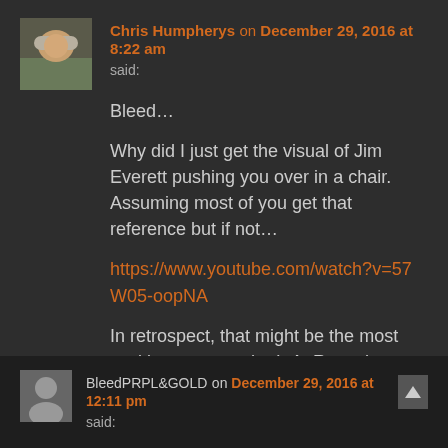Chris Humpherys on December 29, 2016 at 8:22 am said:
Bleed…

Why did I just get the visual of Jim Everett pushing you over in a chair. Assuming most of you get that reference but if not…

https://www.youtube.com/watch?v=57W05-oopNA

In retrospect, that might be the most exciting moment the L.A. Rams have had lately. Maybe build a statue outside the stadium
BleedPRPL&GOLD on December 29, 2016 at 12:11 pm said: